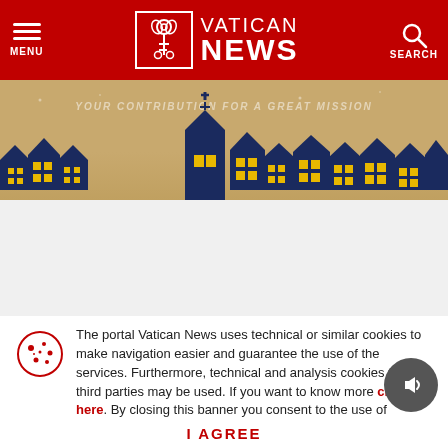MENU | VATICAN NEWS | SEARCH
[Figure (illustration): Vatican News website banner with illustrated nighttime town skyline with church, houses with lit windows, on a gold/kraft paper background with text YOUR CONTRIBUTION FOR A GREAT MISSION]
[Figure (logo): Vatican News logo in dark footer bar — papal keys icon in bordered box, VATICAN NEWS text]
COOKIE POLICY
The portal Vatican News uses technical or similar cookies to make navigation easier and guarantee the use of the services. Furthermore, technical and analysis cookies from third parties may be used. If you want to know more click here. By closing this banner you consent to the use of cookies.
I AGREE